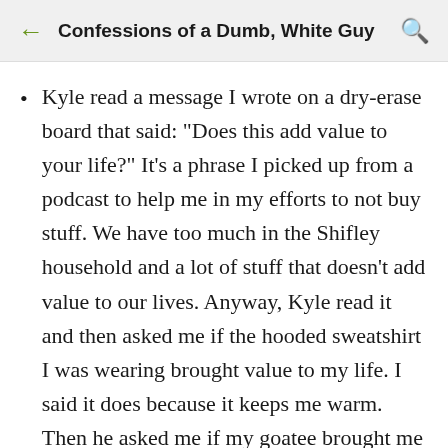Confessions of a Dumb, White Guy
Kyle read a message I wrote on a dry-erase board that said: "Does this add value to your life?" It's a phrase I picked up from a podcast to help me in my efforts to not buy stuff. We have too much in the Shifley household and a lot of stuff that doesn't add value to our lives. Anyway, Kyle read it and then asked me if the hooded sweatshirt I was wearing brought value to my life. I said it does because it keeps me warm. Then he asked me if my goatee brought me value. I had to think about that one for a moment